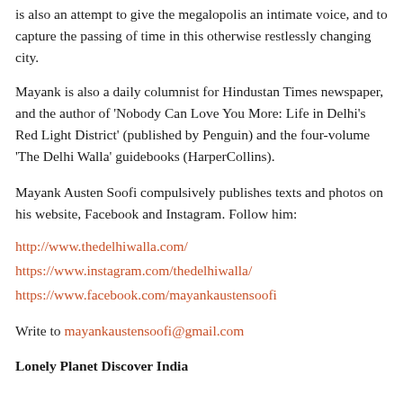is also an attempt to give the megalopolis an intimate voice, and to capture the passing of time in this otherwise restlessly changing city.
Mayank is also a daily columnist for Hindustan Times newspaper, and the author of ‘Nobody Can Love You More: Life in Delhi’s Red Light District’ (published by Penguin) and the four-volume ‘The Delhi Walla’ guidebooks (HarperCollins).
Mayank Austen Soofi compulsively publishes texts and photos on his website, Facebook and Instagram. Follow him:
http://www.thedelhiwalla.com/
https://www.instagram.com/thedelhiwalla/
https://www.facebook.com/mayankaustensoofi
Write to mayankaustensoofi@gmail.com
Lonely Planet Discover India